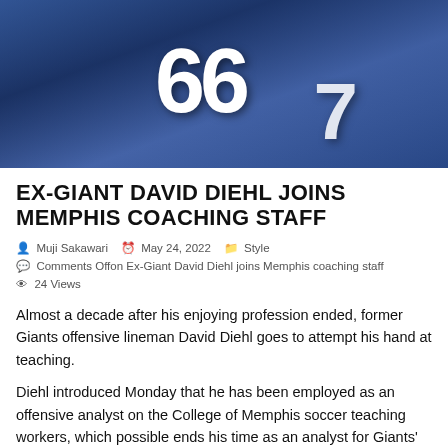[Figure (photo): Football player wearing New York Giants blue jersey number 66, arms raised, with another player visible in background wearing number 7, stadium crowd in background]
EX-GIANT DAVID DIEHL JOINS MEMPHIS COACHING STAFF
Muji Sakawari   May 24, 2022   Style
Comments Offon Ex-Giant David Diehl joins Memphis coaching staff
24 Views
Almost a decade after his enjoying profession ended, former Giants offensive lineman David Diehl goes to attempt his hand at teaching.
Diehl introduced Monday that he has been employed as an offensive analyst on the College of Memphis soccer teaching workers, which possible ends his time as an analyst for Giants' in-house media and the postgame radio broadcasts on WFAN.